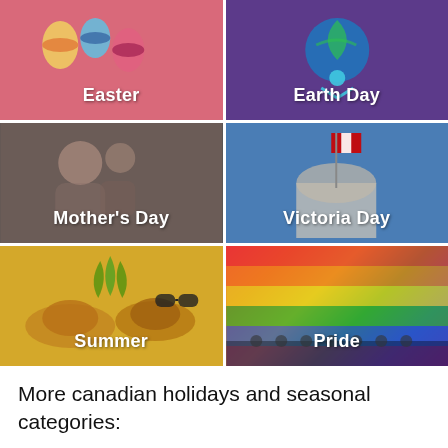[Figure (photo): Easter themed image with pink/red background and decorative Easter eggs, label 'Easter']
[Figure (photo): Earth Day themed image with purple background and globe/figure graphic, label 'Earth Day']
[Figure (photo): Mother's Day photo of a woman and child hugging, label 'Mother's Day']
[Figure (photo): Victoria Day photo of a building with Canadian flag, label 'Victoria Day']
[Figure (photo): Summer themed image with yellow background, hats, and pineapple, label 'Summer']
[Figure (photo): Pride photo of people holding a large rainbow flag, label 'Pride']
More canadian holidays and seasonal categories:
Father's Day
Canada Day
Labour Day
Fall
Back to school